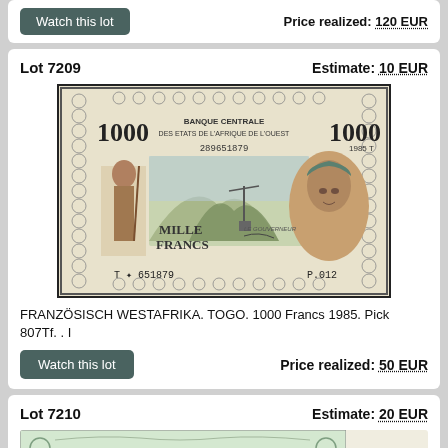Price realized: 120 EUR
Lot 7209   Estimate: 10 EUR
[Figure (photo): Banknote: BANQUE CENTRALE DES ETATS DE L'AFRIQUE DE L'OUEST, 1000 Francs, 1985 T, serial 289651879, T 651879, P.012, MILLE FRANCS. Shows a figure on left and a woman's portrait on right.]
FRANZÖSISCH WESTAFRIKA. TOGO. 1000 Francs 1985. Pick 807Tf. . I
Price realized: 50 EUR
Lot 7210   Estimate: 20 EUR